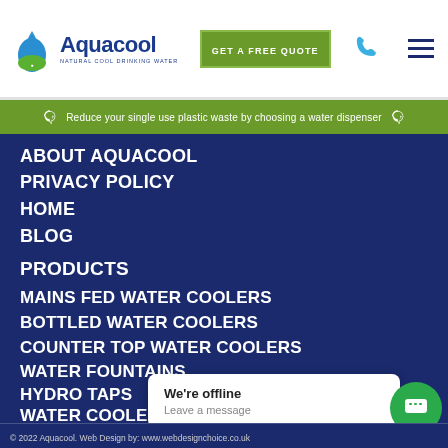[Figure (logo): Aquacool logo with water drop icon and tagline Natural Cool Drinking Water]
GET A FREE QUOTE
ABOUT AQUACOOL
PRIVACY POLICY
HOME
BLOG
PRODUCTS
MAINS FED WATER COOLERS
BOTTLED WATER COOLERS
COUNTER TOP WATER COOLERS
WATER FOUNTAINS
HYDRO TAPS
WATER COOLER ACCESSORIES
HOT WATER BOILERS
We're offline
Leave a message
© 2022 Aquacool. Web Design by: www.webdesignchoice.co.uk